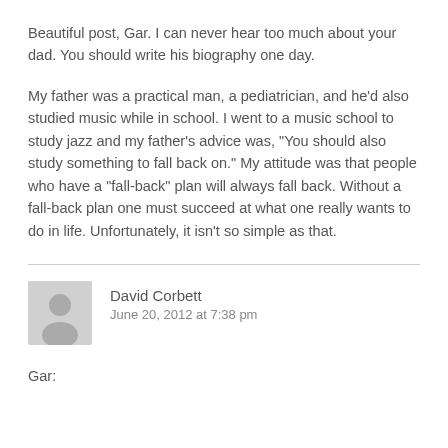Beautiful post, Gar. I can never hear too much about your dad. You should write his biography one day.
My father was a practical man, a pediatrician, and he'd also studied music while in school. I went to a music school to study jazz and my father's advice was, "You should also study something to fall back on." My attitude was that people who have a "fall-back" plan will always fall back. Without a fall-back plan one must succeed at what one really wants to do in life. Unfortunately, it isn't so simple as that.
David Corbett
June 20, 2012 at 7:38 pm
Gar: